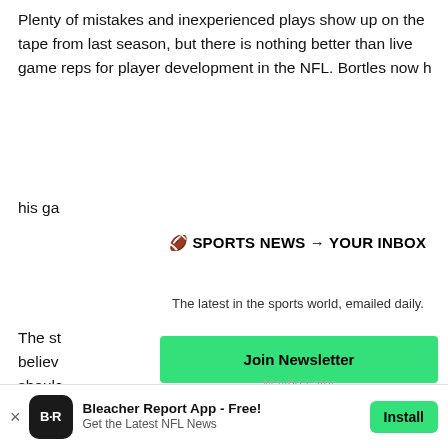Plenty of mistakes and inexperienced plays show up on the tape from last season, but there is nothing better than live game reps for player development in the NFL. Bortles now h his ga
The st believ shoulc 2014 c
🏈 SPORTS NEWS → YOUR INBOX
The latest in the sports world, emailed daily.
Join Newsletter
Maybe Later
Bleacher Report App - Free!
Get the Latest NFL News